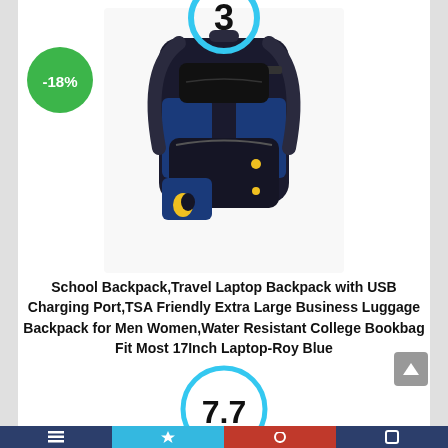[Figure (other): Rank badge showing number 3 in a cyan/light-blue circle at top center]
[Figure (other): Green circle discount badge showing -18% on upper left]
[Figure (photo): Product photo of a black and royal blue school backpack/travel laptop backpack with USB charging port]
School Backpack,Travel Laptop Backpack with USB Charging Port,TSA Friendly Extra Large Business Luggage Backpack for Men Women,Water Resistant College Bookbag Fit Most 17Inch Laptop-Roy Blue
[Figure (other): Score display: cyan circle with '7.7' in large bold text, and a cyan rectangle label below reading 'Score']